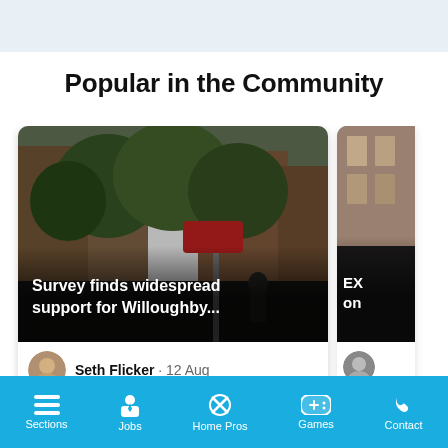Popular in the Community
[Figure (screenshot): Street scene photo with trees and buildings, captioned 'Survey finds widespread support for Willoughby...']
Seth Flicker · 12 Aug
I have lived by Willoughby and Clermont for 21 years. Strange...
[Figure (screenshot): Partial second card, partially visible, showing a building photo, text 'EX...' and 'on...' and a partial avatar]
Sections  Jobs  Home Pros  Games  Contact